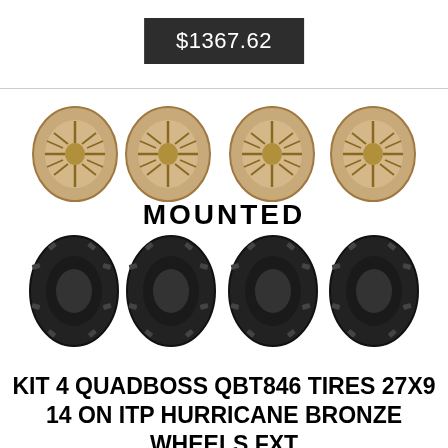$1367.62
[Figure (photo): Product photo showing four bronze ITP Hurricane wheels (top row) and four black QuadBoss QBT846 tires (bottom row) with the word MOUNTED in bold black text between them.]
KIT 4 QUADBOSS QBT846 TIRES 27X9 14 ON ITP HURRICANE BRONZE WHEELS FXT